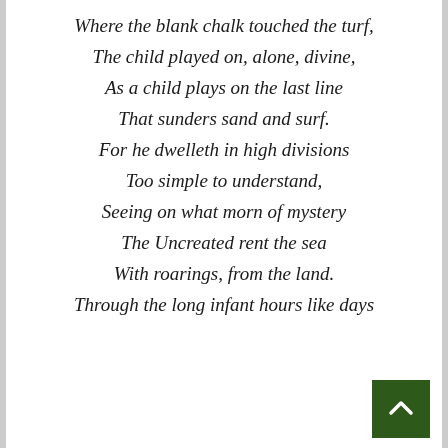Where the blank chalk touched the turf,
The child played on, alone, divine,
As a child plays on the last line
That sunders sand and surf.
For he dwelleth in high divisions
Too simple to understand,
Seeing on what morn of mystery
The Uncreated rent the sea
With roarings, from the land.
Through the long infant hours like days